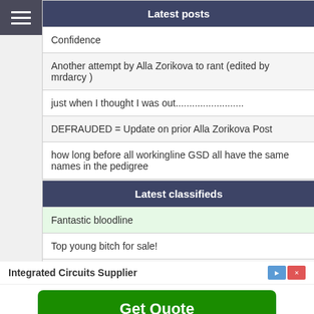Latest posts
Confidence
Another attempt by Alla Zorikova to rant (edited by mrdarcy )
just when I thought I was out.........................
DEFRAUDED = Update on prior Alla Zorikova Post
how long before all workingline GSD all have the same names in the pedigree
Latest classifieds
Fantastic bloodline
Top young bitch for sale!
Labrador retriever
Va1 Pepe's daughter for sale!
Integrated Circuits Supplier
Get Quote
Ad